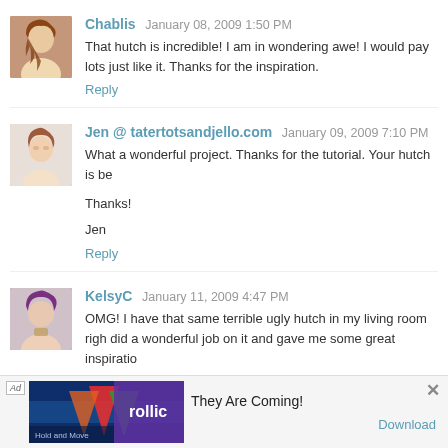[Figure (photo): Avatar photo of Chablis - woman with long brown hair]
Chablis  January 08, 2009 1:50 PM
That hutch is incredible! I am in wondering awe! I would pay lots just like it. Thanks for the inspiration.
Reply
[Figure (photo): Avatar photo of Jen - woman with reddish-brown hair]
Jen @ tatertotsandjello.com  January 09, 2009 7:10 PM
What a wonderful project. Thanks for the tutorial. Your hutch is be
Thanks!
Jen
Reply
[Figure (photo): Avatar photo of KelsyC - woman with purple hair]
KelsyC  January 11, 2009 4:47 PM
OMG! I have that same terrible ugly hutch in my living room righ did a wonderful job on it and gave me some great inspiratio
[Figure (screenshot): Ad banner - Follic game ad with text They Are Coming! and Download button]